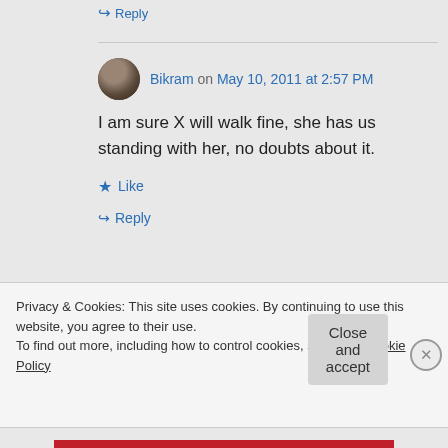↪ Reply
Bikram on May 10, 2011 at 2:57 PM
I am sure X will walk fine, she has us standing with her, no doubts about it.
★ Like
↪ Reply
Privacy & Cookies: This site uses cookies. By continuing to use this website, you agree to their use.
To find out more, including how to control cookies, see here: Cookie Policy
Close and accept